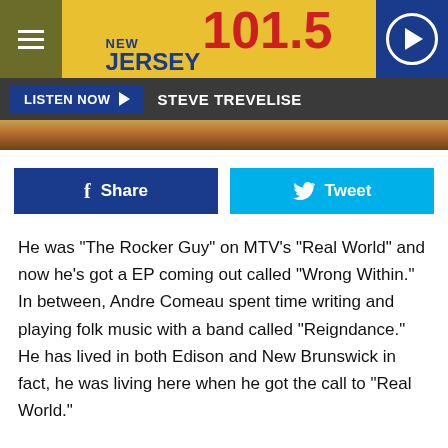[Figure (screenshot): New Jersey 101.5 radio station website header with logo, hamburger menu, and play button]
LISTEN NOW ▶  STEVE TREVELISE
[Figure (photo): Partial image strip showing warm brown/amber tones]
[Figure (screenshot): Facebook Share button and Twitter Tweet button]
He was "The Rocker Guy" on MTV's "Real World" and now he's got a EP coming out called "Wrong Within." In between, Andre Comeau spent time writing and playing folk music with a band called "Reigndance." He has lived in both Edison and New Brunswick in fact, he was living here when he got the call to "Real World."